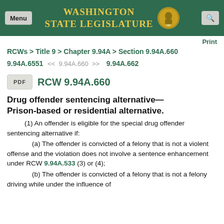Washington State Legislature
Print
RCWs > Title 9 > Chapter 9.94A > Section 9.94A.660
9.94A.6551  << 9.94A.660 >>  9.94A.662
PDF   RCW 9.94A.660
Drug offender sentencing alternative—Prison-based or residential alternative.
(1) An offender is eligible for the special drug offender sentencing alternative if:
(a) The offender is convicted of a felony that is not a violent offense and the violation does not involve a sentence enhancement under RCW 9.94A.533 (3) or (4);
(b) The offender is convicted of a felony that is not a felony driving while under the influence of